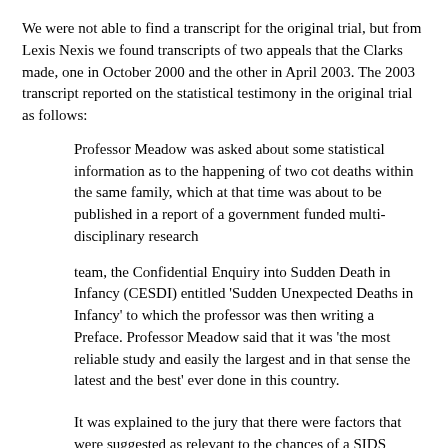We were not able to find a transcript for the original trial, but from Lexis Nexis we found transcripts of two appeals that the Clarks made, one in October 2000 and the other in April 2003. The 2003 transcript reported on the statistical testimony in the original trial as follows:
Professor Meadow was asked about some statistical information as to the happening of two cot deaths within the same family, which at that time was about to be published in a report of a government funded multi-disciplinary research
team, the Confidential Enquiry into Sudden Death in Infancy (CESDI) entitled 'Sudden Unexpected Deaths in Infancy' to which the professor was then writing a Preface. Professor Meadow said that it was 'the most reliable study and easily the largest and in that sense the latest and the best' ever done in this country.
It was explained to the jury that there were factors that were suggested as relevant to the chances of a SIDS death within a given family; namely the age of the mother, whether there was a smoker in the household